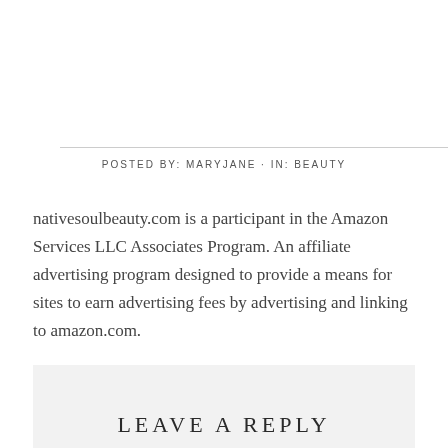POSTED BY: MARYJANE · IN: BEAUTY
nativesoulbeauty.com is a participant in the Amazon Services LLC Associates Program. An affiliate advertising program designed to provide a means for sites to earn advertising fees by advertising and linking to amazon.com.
LEAVE A REPLY